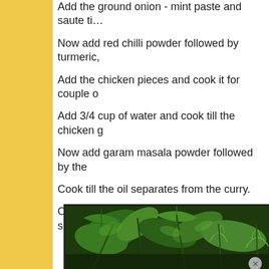Add the ground onion - mint paste and saute ti...
Now add red chilli powder followed by turmeric,...
Add the chicken pieces and cook it for couple o...
Add 3/4 cup of water and cook till the chicken g...
Now add garam masala powder followed by the...
Cook till the oil separates from the curry.
Once done, remove from the flame and serve h...
[Figure (photo): Close-up photo of fresh green herbs including mint and leafy greens]